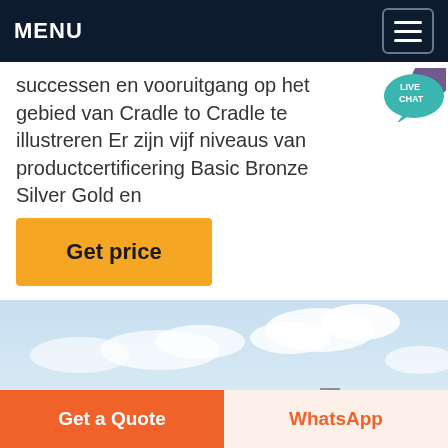MENU
successen en vooruitgang op het gebied van Cradle to Cradle te illustreren Er zijn vijf niveaus van productcertificering Basic Bronze Silver Gold en
[Figure (other): Live Chat speech bubble icon with teal/purple colors and white text LIVE CHAT]
Get price
[Figure (photo): Outdoor industrial/rooftop equipment against a blue sky with clouds — machinery and equipment visible in the lower portion]
Get a Quote
WhatsApp